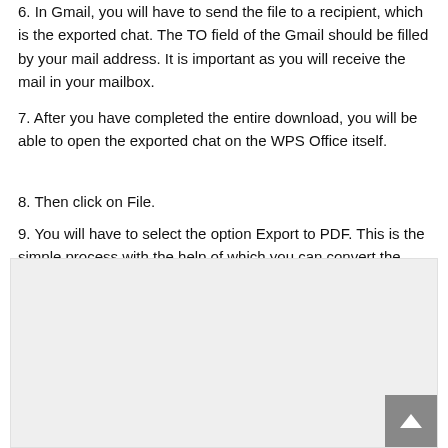6. In Gmail, you will have to send the file to a recipient, which is the exported chat. The TO field of the Gmail should be filled by your mail address. It is important as you will receive the mail in your mailbox.
7. After you have completed the entire download, you will be able to open the exported chat on the WPS Office itself.
8. Then click on File.
9. You will have to select the option Export to PDF. This is the simple process with the help of which you can convert the chat and conversations to the PDF format.
[Figure (other): A large light gray placeholder image area, with a back-to-top arrow button in the bottom-right corner.]